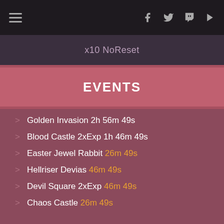Navigation bar with hamburger menu and social icons (Facebook, Twitter, Twitch, YouTube)
x10 NoReset
EVENTS
> Golden Invasion 2h 56m 49s
> Blood Castle 2xExp 1h 46m 49s
> Easter Jewel Rabbit 26m 49s
> Hellriser Devias 46m 49s
> Devil Square 2xExp 46m 49s
> Chaos Castle 26m 49s